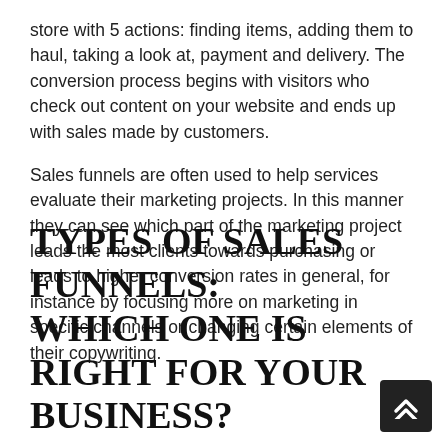store with 5 actions: finding items, adding them to haul, taking a look at, payment and delivery. The conversion process begins with visitors who check out content on your website and ends up with sales made by customers.
Sales funnels are often used to help services evaluate their marketing projects. In this manner they can see which part of the marketing project leads the most clients towards purchasing or leads to higher conversion rates in general, for instance by focusing more on marketing in specific channels or changing certain elements of their copywriting.
TYPES OF SALES FUNNELS: WHICH ONE IS RIGHT FOR YOUR BUSINESS?